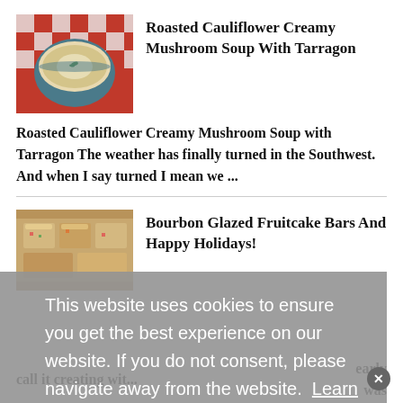[Figure (photo): Thumbnail photo of a bowl of creamy soup on a red and white checkered cloth]
Roasted Cauliflower Creamy Mushroom Soup With Tarragon
Roasted Cauliflower Creamy Mushroom Soup with Tarragon The weather has finally turned in the Southwest. And when I say turned I mean we ...
[Figure (photo): Thumbnail photo of bourbon glazed fruitcake bars]
Bourbon Glazed Fruitcake Bars And Happy Holidays!
This website uses cookies to ensure you get the best experience on our website. If you do not consent, please navigate away from the website.  Learn more
I get it & consent to cookies
early
was
call it creating wit...